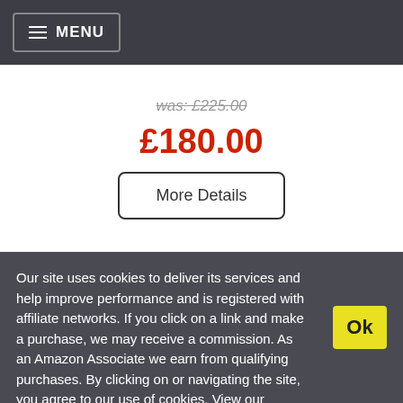MENU
was: £225.00
£180.00
More Details
Our site uses cookies to deliver its services and help improve performance and is registered with affiliate networks. If you click on a link and make a purchase, we may receive a commission. As an Amazon Associate we earn from qualifying purchases. By clicking on or navigating the site, you agree to our use of cookies. View our Cookie Policy and Affiliate Disclosure